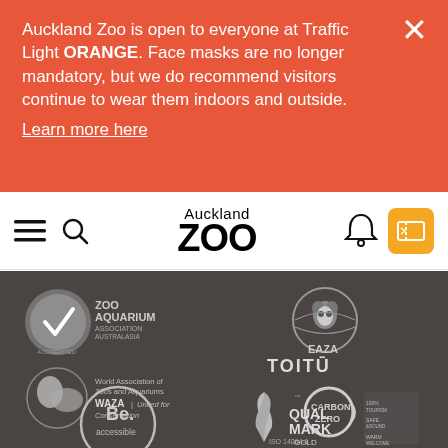Auckland Zoo is open to everyone at Traffic Light ORANGE. Face masks are no longer mandatory, but we do recommend visitors continue to wear them indoors and outside.
Learn more here
[Figure (logo): Auckland Zoo logo - navbar with hamburger menu, search icon, Auckland Zoo wordmark, bell icon, and orange ticket button]
[Figure (logo): Zoo Aquarium Association Australasia accredited logo - grey circular badge with checkmark]
[Figure (logo): EAZA logo - circular badge with panda and globe]
[Figure (logo): WAZA World Association of Zoos and Aquariums United for Conservation logo with animal silhouette]
[Figure (logo): TOITU Carbon Zero ISO 14064-1 Organisation logo - circular carbon zero badge]
[Figure (logo): Be. accessible logo - circular badge]
[Figure (logo): Qualmark Gold logo with New Zealand silver fern and safe/sound/warm welcome badges]